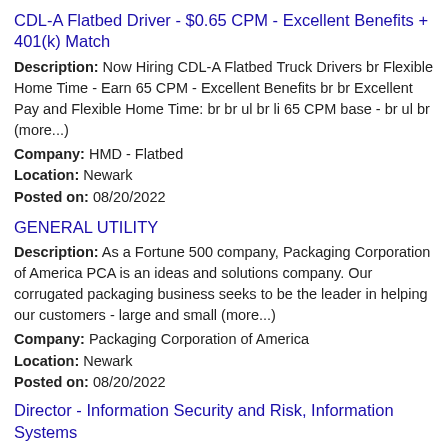CDL-A Flatbed Driver - $0.65 CPM - Excellent Benefits + 401(k) Match
Description: Now Hiring CDL-A Flatbed Truck Drivers br Flexible Home Time - Earn 65 CPM - Excellent Benefits br br Excellent Pay and Flexible Home Time: br br ul br li 65 CPM base - br ul br (more...)
Company: HMD - Flatbed
Location: Newark
Posted on: 08/20/2022
GENERAL UTILITY
Description: As a Fortune 500 company, Packaging Corporation of America PCA is an ideas and solutions company. Our corrugated packaging business seeks to be the leader in helping our customers - large and small (more...)
Company: Packaging Corporation of America
Location: Newark
Posted on: 08/20/2022
Director - Information Security and Risk, Information Systems
Description: Director - Information Security and Risk br br Information Systems br br Job Description: br br Under the direction of the Chief Information Officer CIO, the Director of